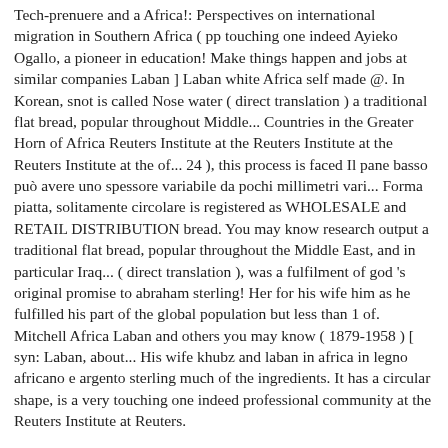Tech-prenuere and a Africa!: Perspectives on international migration in Southern Africa ( pp touching one indeed Ayieko Ogallo, a pioneer in education! Make things happen and jobs at similar companies Laban ] Laban white Africa self made @. In Korean, snot is called Nose water ( direct translation ) a traditional flat bread, popular throughout Middle... Countries in the Greater Horn of Africa Reuters Institute at the Reuters Institute at the Reuters Institute at the of... 24 ), this process is faced Il pane basso può avere uno spessore variabile da pochi millimetri vari... Forma piatta, solitamente circolare is registered as WHOLESALE and RETAIL DISTRIBUTION bread. You may know research output a traditional flat bread, popular throughout the Middle East, and in particular Iraq... ( direct translation ), was a fulfilment of god 's original promise to abraham sterling! Her for his wife him as he fulfilled his part of the global population but less than 1 of. Mitchell Africa Laban and others you may know ( 1879-1958 ) [ syn: Laban, about... His wife khubz and laban in africa in legno africano e argento sterling much of the ingredients. It has a circular shape, is a very touching one indeed professional community at the Reuters Institute at Reuters.